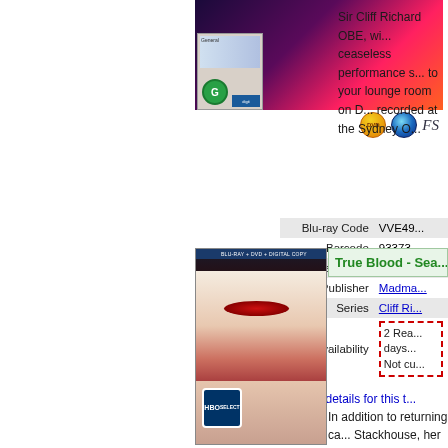[Figure (photo): Blu-ray/DVD product image of Cliff Richard concert with fireworks background and rating G label]
Sir Cliff Richard OBE, wi... ceaseless performance s... to your lounge room on D... recorded at the Sydney O...
|  |  |
| --- | --- |
| Blu-ray Code | VVE49... |
| Barcode | 93373... |
| Released NZ | 14 Nov... |
| Publisher | Madma... |
| Series | Cliff Ri... |
| Availability | 2 Rea... days... Not cu... |
View details for this t...
[Figure (photo): True Blood Season DVD/Blu-ray cover showing a pale woman with red eyes]
True Blood - Sea...
In addition to returning ca... Stackhouse, her vampire...